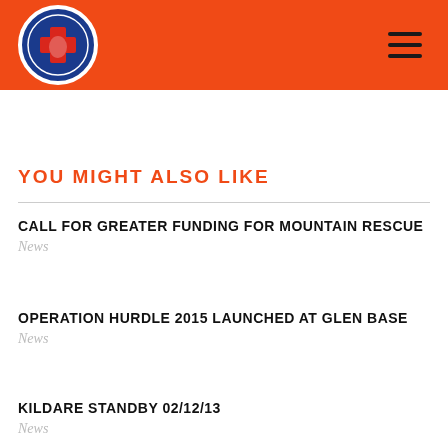[Figure (logo): Glen of Imaal Wicklow Mountain Rescue circular logo with blue background, red cross, and white border]
YOU MIGHT ALSO LIKE
CALL FOR GREATER FUNDING FOR MOUNTAIN RESCUE
News
OPERATION HURDLE 2015 LAUNCHED AT GLEN BASE
News
KILDARE STANDBY 02/12/13
News
GREYSTONES SEA SCOUTS DONATION